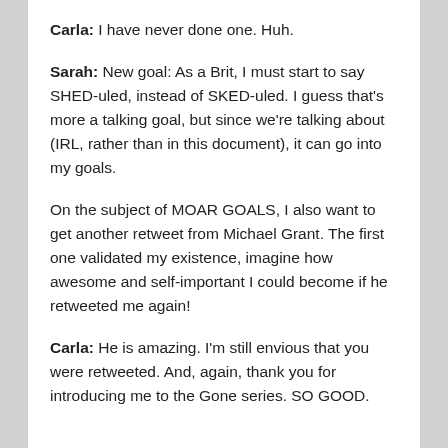Carla: I have never done one. Huh.
Sarah: New goal: As a Brit, I must start to say SHED-uled, instead of SKED-uled. I guess that's more a talking goal, but since we're talking about (IRL, rather than in this document), it can go into my goals.
On the subject of MOAR GOALS, I also want to get another retweet from Michael Grant. The first one validated my existence, imagine how awesome and self-important I could become if he retweeted me again!
Carla: He is amazing. I'm still envious that you were retweeted. And, again, thank you for introducing me to the Gone series. SO GOOD.